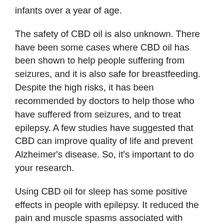infants over a year of age.
The safety of CBD oil is also unknown. There have been some cases where CBD oil has been shown to help people suffering from seizures, and it is also safe for breastfeeding. Despite the high risks, it has been recommended by doctors to help those who have suffered from seizures, and to treat epilepsy. A few studies have suggested that CBD can improve quality of life and prevent Alzheimer's disease. So, it's important to do your research.
Using CBD oil for sleep has some positive effects in people with epilepsy. It reduced the pain and muscle spasms associated with multiple sclerosis in dogs. It may also help with insomnia. It has also been shown in humans to reduce the symptoms of depression. The benefits of CBD oil are still being explored, and more^ research is necessary to make sure it is safe for you. If you're looking to purchase CBD oil, it's better to buy it